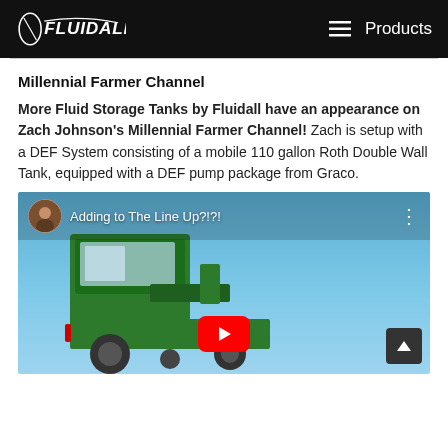Fluidall — Products
Millennial Farmer Channel
More Fluid Storage Tanks by Fluidall have an appearance on Zach Johnson's Millennial Farmer Channel! Zach is setup with a DEF System consisting of a mobile 110 gallon Roth Double Wall Tank, equipped with a DEF pump package from Graco.
[Figure (screenshot): YouTube video thumbnail showing a green John Deere combine harvester against a blue sky, with the video title 'Adding to The Line Up?!?!' and a red YouTube play button overlay. A circular avatar of Zach Johnson is shown in the top left of the video player.]